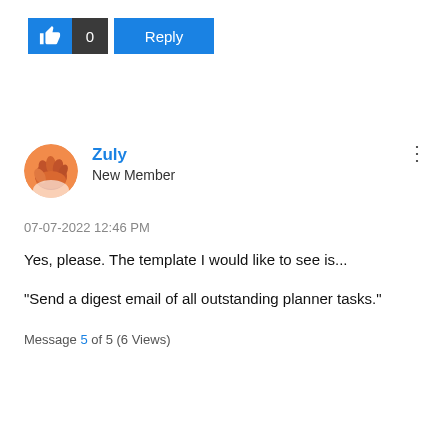[Figure (other): Like button (thumbs up icon with count 0) and Reply button]
Zuly
New Member
07-07-2022 12:46 PM
Yes, please. The template I would like to see is...
"Send a digest email of all outstanding planner tasks."
Message 5 of 5 (6 Views)